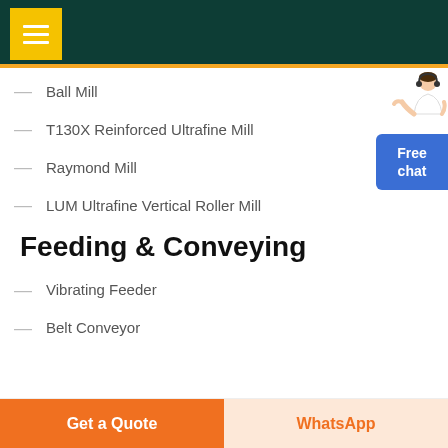Navigation menu header with dark green background and yellow menu icon
Ball Mill
T130X Reinforced Ultrafine Mill
Raymond Mill
LUM Ultrafine Vertical Roller Mill
Feeding & Conveying
Vibrating Feeder
Belt Conveyor
[Figure (illustration): Customer service representative figure above a blue Free chat button on the right side]
Get a Quote | WhatsApp